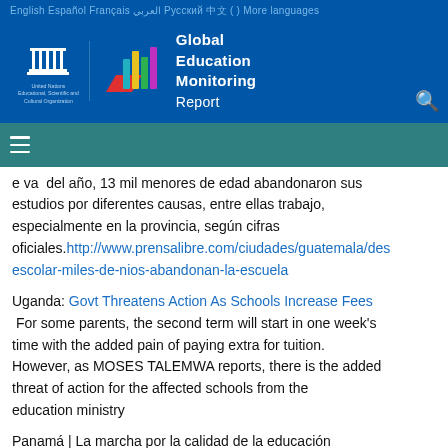English  Español  Français  العربي  Русский  中文 ( ) More languages
[Figure (logo): UNESCO and Global Education Monitoring Report logo on dark blue background]
e va del año, 13 mil menores de edad abandonaron sus estudios por diferentes causas, entre ellas trabajo, especialmente en la provincia, según cifras oficiales. http://www.prensalibre.com/ciudades/guatemala/des escolar-miles-de-nios-abandonan-la-escuela
Uganda: Govt Threatens Action As Schools Increase Fees For some parents, the second term will start in one week's time with the added pain of paying extra for tuition. However, as MOSES TALEMWA reports, there is the added threat of action for the affected schools from the education ministry
Panamá | La marcha por la calidad de la educación http://www.prensa.com/opinion/marcha-calidad-